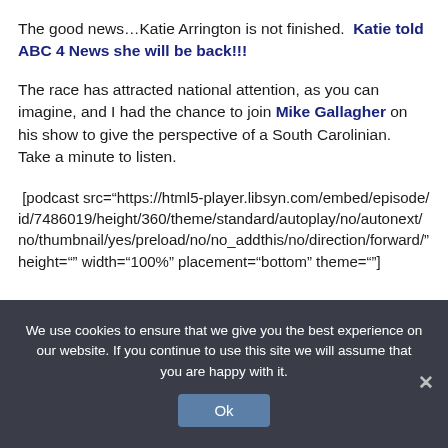The good news…Katie Arrington is not finished.  Katie told ABC 4 News she will be back!!!
The race has attracted national attention, as you can imagine, and I had the chance to join Mike Gallagher on his show to give the perspective of a South Carolinian.  Take a minute to listen.
[podcast src="https://html5-player.libsyn.com/embed/episode/id/7486019/height/360/theme/standard/autoplay/no/autonext/no/thumbnail/yes/preload/no/no_addthis/no/direction/forward/" height="" width="100%" placement="bottom" theme=""]
We use cookies to ensure that we give you the best experience on our website. If you continue to use this site we will assume that you are happy with it.